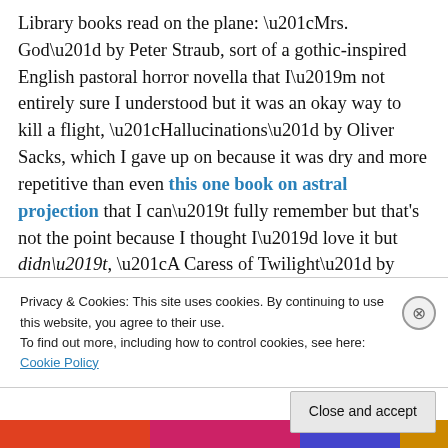Library books read on the plane: “Mrs. God” by Peter Straub, sort of a gothic-inspired English pastoral horror novella that I’m not entirely sure I understood but it was an okay way to kill a flight, “Hallucinations” by Oliver Sacks, which I gave up on because it was dry and more repetitive than even this one book on astral projection that I can’t fully remember but that’s not the point because I thought I’d love it but didn’t, “A Caress of Twilight” by Laurell K. Hamilton, which is decent enough for what it is but I have got to stop being disappointed by my favorite short story horror writers when it comes to their full-length novels
Privacy & Cookies: This site uses cookies. By continuing to use this website, you agree to their use.
To find out more, including how to control cookies, see here: Cookie Policy